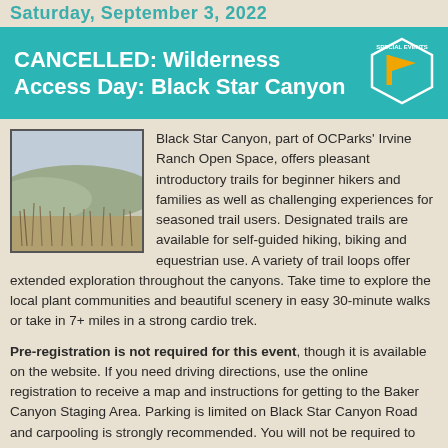Saturday, September 3, 2022
CANCELLED: Wilderness Access Day: Black Star Canyon
[Figure (photo): Landscape photo of Black Star Canyon showing hills and dry vegetation in the foreground]
Black Star Canyon, part of OCParks' Irvine Ranch Open Space, offers pleasant introductory trails for beginner hikers and families as well as challenging experiences for seasoned trail users. Designated trails are available for self-guided hiking, biking and equestrian use. A variety of trail loops offer extended exploration throughout the canyons. Take time to explore the local plant communities and beautiful scenery in easy 30-minute walks or take in 7+ miles in a strong cardio trek.
Pre-registration is not required for this event, though it is available on the website. If you need driving directions, use the online registration to receive a map and instructions for getting to the Baker Canyon Staging Area. Parking is limited on Black Star Canyon Road and carpooling is strongly recommended. You will not be required to sign-in upon